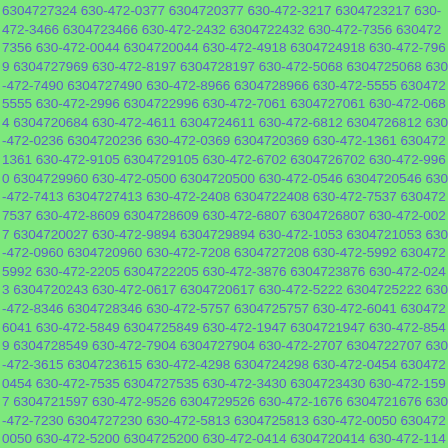6304727324 630-472-0377 6304720377 630-472-3217 6304723217 630-472-3466 6304723466 630-472-2432 6304722432 630-472-7356 6304727356 630-472-0044 6304720044 630-472-4918 6304724918 630-472-7969 6304727969 630-472-8197 6304728197 630-472-5068 6304725068 630-472-7490 6304727490 630-472-8966 6304728966 630-472-5555 6304725555 630-472-2996 6304722996 630-472-7061 6304727061 630-472-0684 6304720684 630-472-4611 6304724611 630-472-6812 6304726812 630-472-0236 6304720236 630-472-0369 6304720369 630-472-1361 6304721361 630-472-9105 6304729105 630-472-6702 6304726702 630-472-9960 6304729960 630-472-0500 6304720500 630-472-0546 6304720546 630-472-7413 6304727413 630-472-2408 6304722408 630-472-7537 6304727537 630-472-8609 6304728609 630-472-6807 6304726807 630-472-0027 6304720027 630-472-9894 6304729894 630-472-1053 6304721053 630-472-0960 6304720960 630-472-7208 6304727208 630-472-5992 6304725992 630-472-2205 6304722205 630-472-3876 6304723876 630-472-0243 6304720243 630-472-0617 6304720617 630-472-5222 6304725222 630-472-8346 6304728346 630-472-5757 6304725757 630-472-6041 6304726041 630-472-5849 6304725849 630-472-1947 6304721947 630-472-8549 6304728549 630-472-7904 6304727904 630-472-2707 6304722707 630-472-3615 6304723615 630-472-4298 6304724298 630-472-0454 6304720454 630-472-7535 6304727535 630-472-3430 6304723430 630-472-1597 6304721597 630-472-9526 6304729526 630-472-1676 6304721676 630-472-7230 6304727230 630-472-5813 6304725813 630-472-0050 6304720050 630-472-5200 6304725200 630-472-0414 6304720414 630-472-1145 6304721145